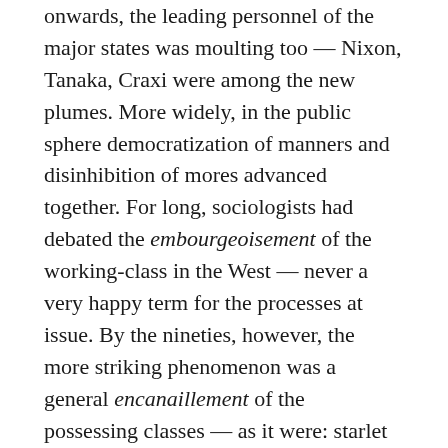onwards, the leading personnel of the major states was moulting too — Nixon, Tanaka, Craxi were among the new plumes. More widely, in the public sphere democratization of manners and disinhibition of mores advanced together. For long, sociologists had debated the embourgeoisement of the working-class in the West — never a very happy term for the processes at issue. By the nineties, however, the more striking phenomenon was a general encanaillement of the possessing classes — as it were: starlet princesses and sleazeball presidents, beds for rent in the official residence and bribes for killer ads, disneyfication of protocols and tarantinization of practices, the avid corteges of the nocturnal underpass or the gubernatorial troop. In scenes like these lies